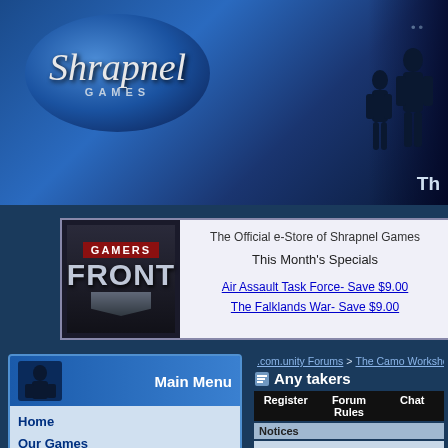[Figure (logo): Shrapnel Games logo on blue oval background with silhouette figures]
[Figure (logo): Gamers Front logo - red GAMERS text over silver FRONT text with shield]
The Official e-Store of Shrapnel Games
This Month's Specials
Air Assault Task Force- Save $9.00
The Falklands War- Save $9.00
Main Menu
Home
Our Games
Our Store
News
Customer Support
Latest News
We've Got Your Six! The 2022 winSPWW2 and winSPMBT Upgrade Patches are In!
.com.unity Forums > The Camo Workshop > WinSPM...
Any takers
Register   Forum Rules   Chat
Notices
Order winSPMBT here.
Do you own this game? Write a review and
Post Reply
June 15th, 2013, 08:57 AM